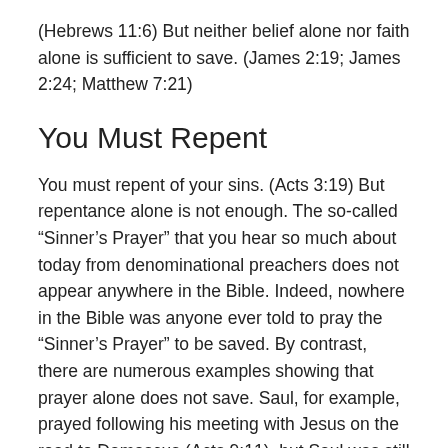(Hebrews 11:6) But neither belief alone nor faith alone is sufficient to save. (James 2:19; James 2:24; Matthew 7:21)
You Must Repent
You must repent of your sins. (Acts 3:19) But repentance alone is not enough. The so-called “Sinner’s Prayer” that you hear so much about today from denominational preachers does not appear anywhere in the Bible. Indeed, nowhere in the Bible was anyone ever told to pray the “Sinner’s Prayer” to be saved. By contrast, there are numerous examples showing that prayer alone does not save. Saul, for example, prayed following his meeting with Jesus on the road to Damascus (Acts 9:11), but Saul was still in his sins when Ananias met him three days later (Acts